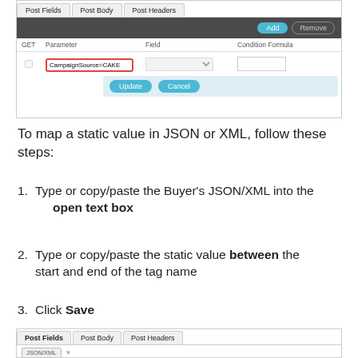[Figure (screenshot): UI screenshot showing Post Fields, Post Body, Post Headers tabs with a table grid. A row shows a checkbox, 'CampaignSource=CAKE' in a red-bordered input, a dropdown field, and a Condition Formula column. Below is an Update/Cancel button bar with light blue background.]
To map a static value in JSON or XML, follow these steps:
1. Type or copy/paste the Buyer's JSON/XML into the open text box
2. Type or copy/paste the static value between the start and end of the tag name
3. Click Save
[Figure (screenshot): Bottom partial screenshot showing Post Fields, Post Body, Post Headers tabs and the beginning of a table row.]